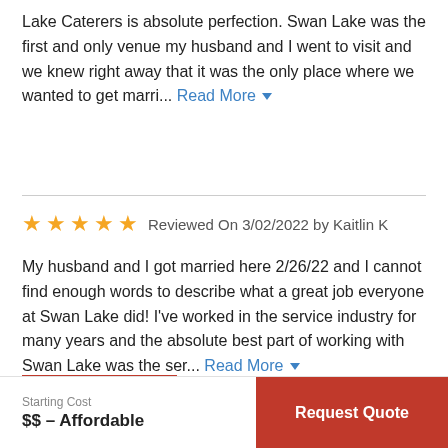Lake Caterers is absolute perfection. Swan Lake was the first and only venue my husband and I went to visit and we knew right away that it was the only place where we wanted to get marri... Read More
Reviewed On 3/02/2022 by Kaitlin K
My husband and I got married here 2/26/22 and I cannot find enough words to describe what a great job everyone at Swan Lake did! I've worked in the service industry for many years and the absolute best part of working with Swan Lake was the ser... Read More
View More
Starting Cost
$$ – Affordable
Request Quote